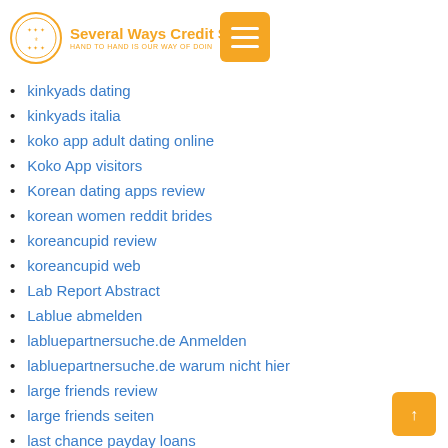Several Ways Credit S | HAND TO HAND IS OUR WAY OF DOING
kinkyads dating
kinkyads italia
koko app adult dating online
Koko App visitors
Korean dating apps review
korean women reddit brides
koreancupid review
koreancupid web
Lab Report Abstract
Lablue abmelden
labluepartnersuche.de Anmelden
labluepartnersuche.de warum nicht hier
large friends review
large friends seiten
last chance payday loans
latin brides
latin dating
latin dating sites
Latin Dating Sites app